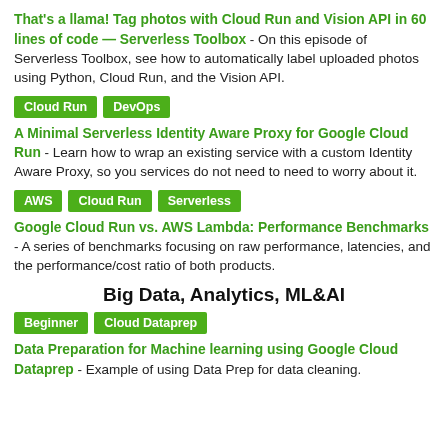That's a llama! Tag photos with Cloud Run and Vision API in 60 lines of code — Serverless Toolbox - On this episode of Serverless Toolbox, see how to automatically label uploaded photos using Python, Cloud Run, and the Vision API.
Cloud Run
DevOps
A Minimal Serverless Identity Aware Proxy for Google Cloud Run - Learn how to wrap an existing service with a custom Identity Aware Proxy, so you services do not need to need to worry about it.
AWS
Cloud Run
Serverless
Google Cloud Run vs. AWS Lambda: Performance Benchmarks - A series of benchmarks focusing on raw performance, latencies, and the performance/cost ratio of both products.
Big Data, Analytics, ML&AI
Beginner
Cloud Dataprep
Data Preparation for Machine learning using Google Cloud Dataprep - Example of using Data Prep for data cleaning.